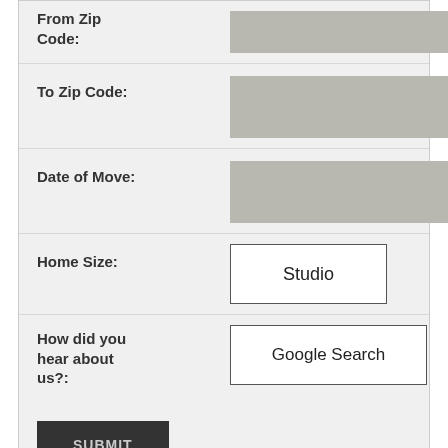| Field | Value |
| --- | --- |
| From Zip Code: | (input field) |
| To Zip Code: | (input field) |
| Date of Move: | (input field) |
| Home Size: | Studio |
| How did you hear about us?: | Google Search |
SUBMIT
[Figure (photo): Photo of movers/warehouse workers: a person in a green shirt leaning over stacked boxes on the left, and a group of people in a warehouse setting on the right with overhead lighting.]